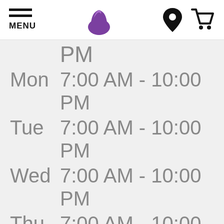[Figure (screenshot): Taco Bell website header with hamburger menu icon labeled MENU, Taco Bell logo, location pin icon, and shopping cart icon]
| Day | Hours |
| --- | --- |
|  | PM |
| Mon | 7:00 AM - 10:00 PM |
| Tue | 7:00 AM - 10:00 PM |
| Wed | 7:00 AM - 10:00 PM |
| Thu | 7:00 AM - 10:00 |